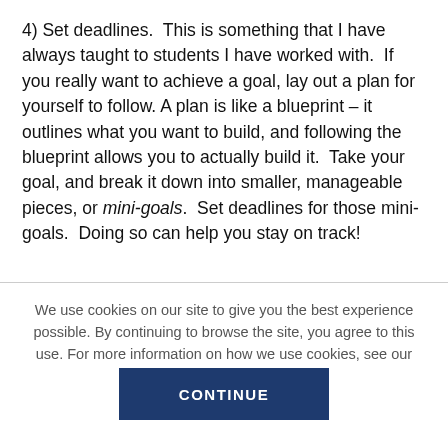4) Set deadlines.  This is something that I have always taught to students I have worked with.  If you really want to achieve a goal, lay out a plan for yourself to follow. A plan is like a blueprint – it outlines what you want to build, and following the blueprint allows you to actually build it.  Take your goal, and break it down into smaller, manageable pieces, or mini-goals.  Set deadlines for those mini-goals.  Doing so can help you stay on track!
We use cookies on our site to give you the best experience possible. By continuing to browse the site, you agree to this use. For more information on how we use cookies, see our Privacy Policy.